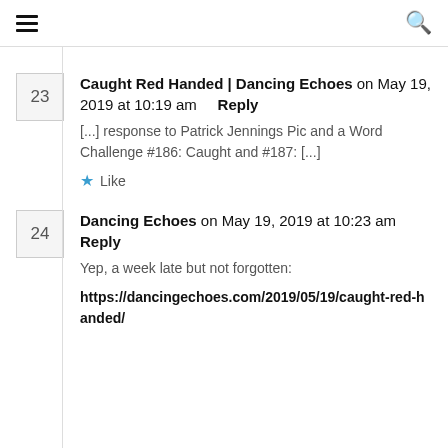≡   🔍
23  Caught Red Handed | Dancing Echoes on May 19, 2019 at 10:19 am   Reply
[...] response to Patrick Jennings Pic and a Word Challenge #186: Caught and #187: [...]
★ Like
24  Dancing Echoes on May 19, 2019 at 10:23 am   Reply
Yep, a week late but not forgotten:
https://dancingechoes.com/2019/05/19/caught-red-handed/